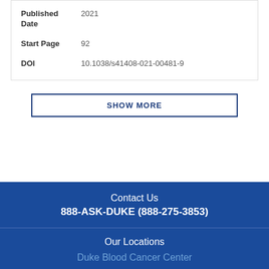| Field | Value |
| --- | --- |
| Published Date | 2021 |
| Start Page | 92 |
| DOI | 10.1038/s41408-021-00481-9 |
SHOW MORE
Contact Us
888-ASK-DUKE (888-275-3853)
Our Locations
Duke Blood Cancer Center